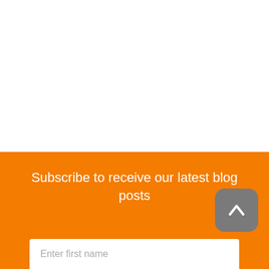Subscribe to receive our latest blog posts
Enter first name